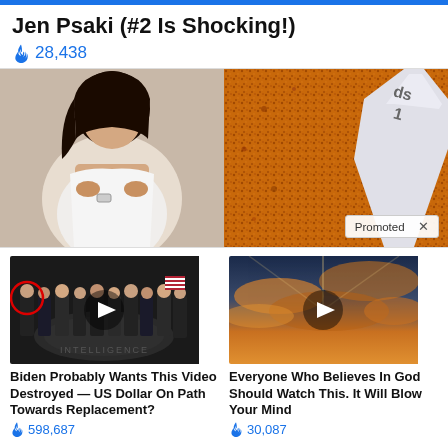Jen Psaki (#2 Is Shocking!)
🔥 28,438
[Figure (photo): Promotional banner with two images: left shows a woman in white top looking down, right shows a spoon with spices. Promoted label with X in bottom right.]
[Figure (photo): Video thumbnail of group of men in suits at CIA headquarters with a red circle around one figure and a play button overlay. Caption: Biden Probably Wants This Video Destroyed — US Dollar On Path Towards Replacement? Fire count: 598,687]
Biden Probably Wants This Video Destroyed — US Dollar On Path Towards Replacement?
🔥 598,687
[Figure (photo): Video thumbnail of dramatic sunset sky with clouds and a play button overlay. Caption: Everyone Who Believes In God Should Watch This. It Will Blow Your Mind. Fire count: 30,087]
Everyone Who Believes In God Should Watch This. It Will Blow Your Mind
🔥 30,087